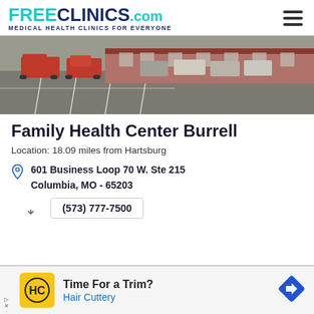FREE CLINICS .COM Medical Health Clinics For Everyone
[Figure (photo): Parking lot with red trucks and other vehicles in front of a shopping center or clinic building]
Family Health Center Burrell
Location: 18.09 miles from Hartsburg
601 Business Loop 70 W. Ste 215
Columbia, MO - 65203
(573) 777-7500
Time For a Trim?
Hair Cuttery